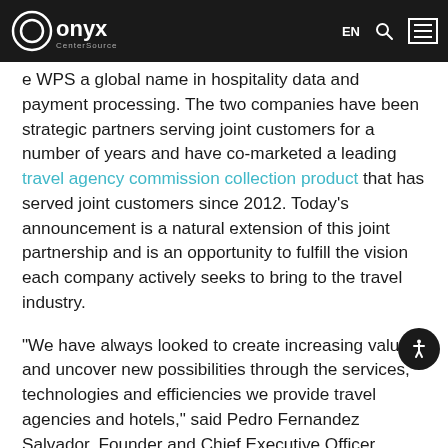Onyx CenterSource — EN navigation header
e WPS a global name in hospitality data and payment processing. The two companies have been strategic partners serving joint customers for a number of years and have co-marketed a leading travel agency commission collection product that has served joint customers since 2012. Today's announcement is a natural extension of this joint partnership and is an opportunity to fulfill the vision each company actively seeks to bring to the travel industry.
“We have always looked to create increasing value and uncover new possibilities through the services, technologies and efficiencies we provide travel agencies and hotels,” said Pedro Fernandez Salvador, Founder and Chief Executive Officer, WPS. “Our experience is that the market is looking for end-to-end processing on both the demand and supply side, which is why we are pleased to be an integral part of the Onyx team that is doing just that”